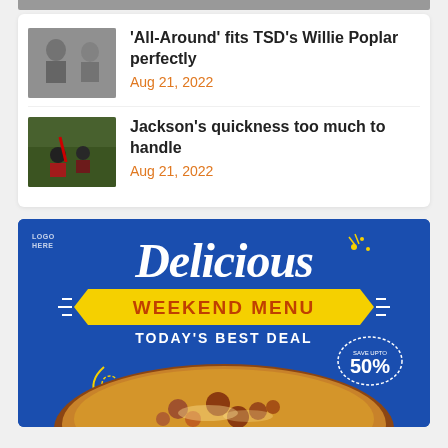[Figure (photo): Partial black and white photo cropped at top]
'All-Around' fits TSD's Willie Poplar perfectly
Aug 21, 2022
[Figure (photo): Black and white photo of two people]
Jackson's quickness too much to handle
Aug 21, 2022
[Figure (photo): Football action photo]
[Figure (infographic): Delicious Weekend Menu - Today's Best Deal advertisement with pizza image, blue background, yellow banner, save up to 50% badge]